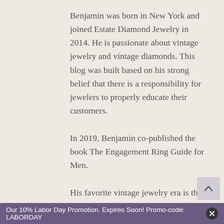Benjamin was born in New York and joined Estate Diamond Jewelry in 2014. He is passionate about vintage jewelry and vintage diamonds. This blog was built based on his strong belief that there is a responsibility for jewelers to properly educate their customers.
In 2019, Benjamin co-published the book The Engagement Ring Guide for Men.
His favorite vintage jewelry era is the Art Deco Era and his favorite type of stone is the Kashmir Sapphire. He also collects rare
Our 10% Labor Day Promotion. Expires Soon! Promo-code: LABORDAY